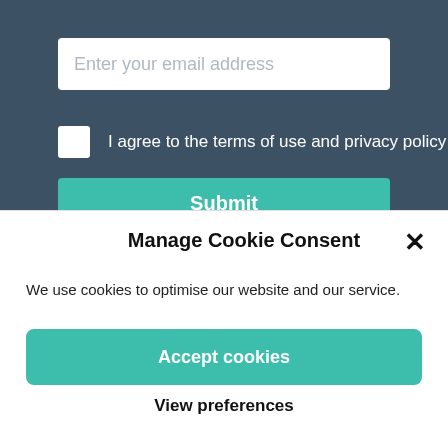Enter your email address
I agree to the terms of use and privacy policy
Submit
Manage Cookie Consent
We use cookies to optimise our website and our service.
Accept cookies
Deny
View preferences